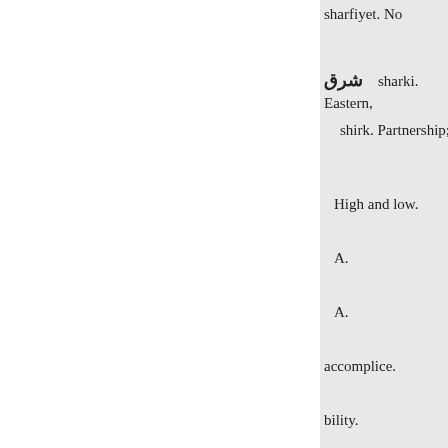sharfiyet. No
شرق    sharki. Eastern,
shirk. Partnership;
High and low.
A.
A.
accomplice.
bility.
P.
A. shark. The east; thumb-stal
rising (the sun).
A. oriental.
A.
polytheism.
A.
ners.
A.